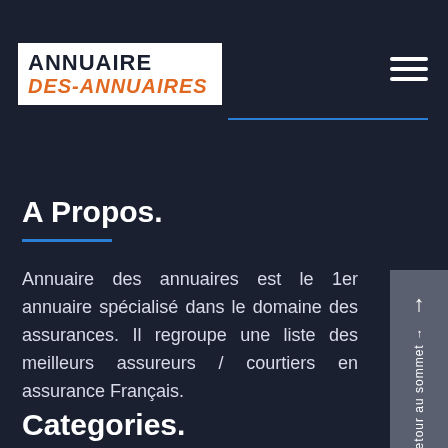ANNUAIRE DES-ANNUAIRES
A Propos.
Annuaire des annuaires est le 1er annuaire spécialisé dans le domaine des assurances. Il regroupe une liste des meilleurs assureurs / courtiers en assurance Français.
Categories.